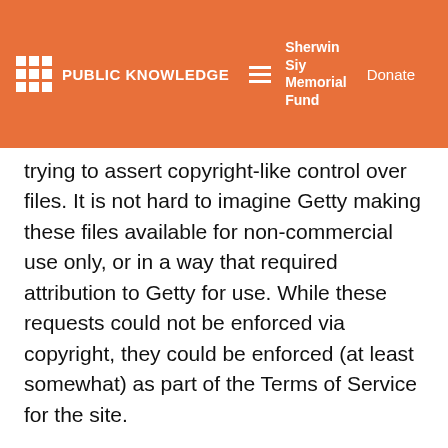PUBLIC KNOWLEDGE | Sherwin Siy Memorial Fund | Donate
trying to assert copyright-like control over files. It is not hard to imagine Getty making these files available for non-commercial use only, or in a way that required attribution to Getty for use. While these requests could not be enforced via copyright, they could be enforced (at least somewhat) as part of the Terms of Service for the site.
Getty declined to do that. They recognized that public domain means freely available to anyone for